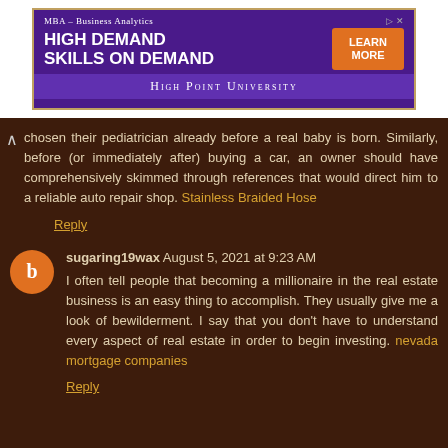[Figure (screenshot): Advertisement banner for High Point University MBA – Business Analytics program. Purple background with 'HIGH DEMAND SKILLS ON DEMAND' headline and orange 'LEARN MORE' button.]
chosen their pediatrician already before a real baby is born. Similarly, before (or immediately after) buying a car, an owner should have comprehensively skimmed through references that would direct him to a reliable auto repair shop. Stainless Braided Hose
Reply
sugaring19wax August 5, 2021 at 9:23 AM
I often tell people that becoming a millionaire in the real estate business is an easy thing to accomplish. They usually give me a look of bewilderment. I say that you don't have to understand every aspect of real estate in order to begin investing. nevada mortgage companies
Reply